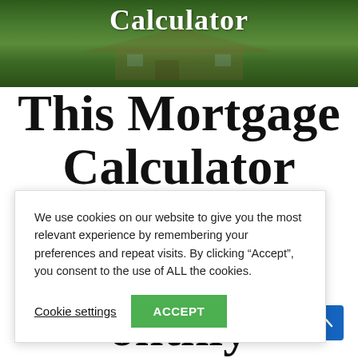[Figure (photo): Hero banner image showing a house with green lawn background with overlaid white text reading 'Calculator']
This Mortgage Calculator Gives Your Monthly
We use cookies on our website to give you the most relevant experience by remembering your preferences and repeat visits. By clicking “Accept”, you consent to the use of ALL the cookies.
Cookie settings | ACCEPT